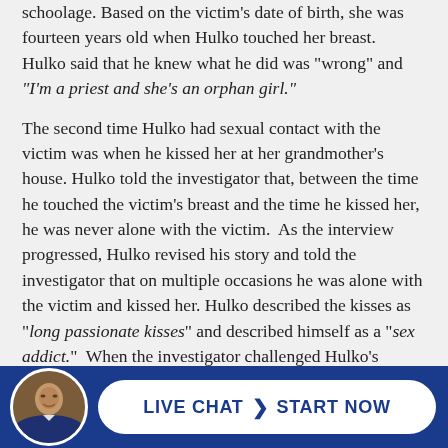schoolage. Based on the victim's date of birth, she was fourteen years old when Hulko touched her breast. Hulko said that he knew what he did was "wrong" and "I'm a priest and she's an orphan girl."
The second time Hulko had sexual contact with the victim was when he kissed her at her grandmother's house. Hulko told the investigator that, between the time he touched the victim's breast and the time he kissed her, he was never alone with the victim. As the interview progressed, Hulko revised his story and told the investigator that on multiple occasions he was alone with the victim and kissed her. Hulko described the kisses as "long passionate kisses" and described himself as a "sex addict." When the investigator challenged Hulko's truthfulness, Hulko ended the interview.
[Figure (other): Live Chat button with a portrait photo of a man in a suit, a white rounded button with 'LIVE CHAT > START NOW' text in bold dark blue on a dark blue footer bar]